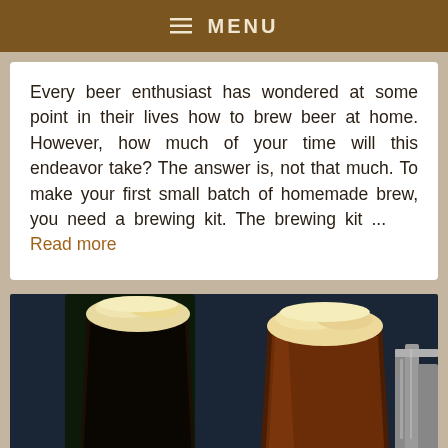≡ MENU
Every beer enthusiast has wondered at some point in their lives how to brew beer at home. However, how much of your time will this endeavor take? The answer is, not that much. To make your first small batch of homemade brew, you need a brewing kit. The brewing kit ... Read more
[Figure (photo): Two glasses of dark beer with foam heads on a dark background, with metal brewing equipment visible on the right side]